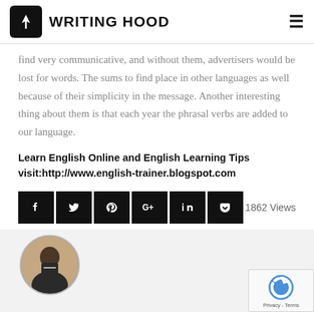WRITING HOOD
find very communicative, and without them, advertisers would be lost for words. The sums to find place in other languages as well because of their simplicity in the message. Another interesting thing about them is that each year the phrasal verbs are added to our language.
Learn English Online and English Learning Tips
visit:http://www.english-trainer.blogspot.com
[Figure (infographic): Social media share buttons (Facebook, Twitter, Pinterest, Google+, LinkedIn, Pocket) in black squares, followed by '1862 Views' text on the right]
[Figure (photo): Circular author profile photo of a person in a dark jacket, and a reCAPTCHA badge in the bottom right corner]